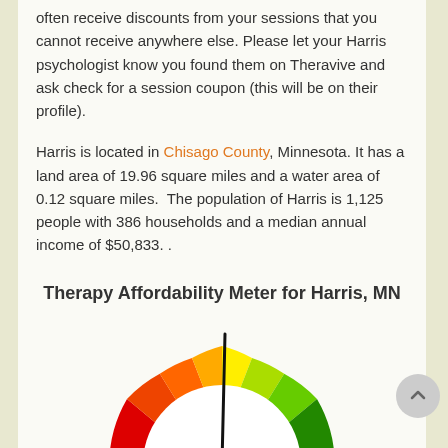often receive discounts from your sessions that you cannot receive anywhere else. Please let your Harris psychologist know you found them on Theravive and ask check for a session coupon (this will be on their profile).
Harris is located in Chisago County, Minnesota. It has a land area of 19.96 square miles and a water area of 0.12 square miles.  The population of Harris is 1,125 people with 386 households and a median annual income of $50,833. .
Therapy Affordability Meter for Harris, MN
[Figure (other): A semicircular gauge/meter showing therapy affordability. The gauge arc goes from red on the left through orange, yellow, yellow-green to dark green on the right. A needle points upward (slightly right of center-top), indicating a moderate-to-good affordability score.]